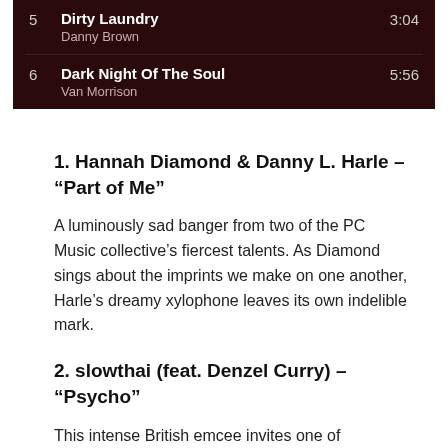| # | Title / Artist | Duration |
| --- | --- | --- |
| 5 | Dirty Laundry
Danny Brown | 3:04 |
| 6 | Dark Night Of The Soul
Van Morrison | 5:56 |
1. Hannah Diamond & Danny L. Harle – “Part of Me”
A luminously sad banger from two of the PC Music collective’s fiercest talents. As Diamond sings about the imprints we make on one another, Harle’s dreamy xylophone leaves its own indelible mark.
2. slowthai (feat. Denzel Curry) – “Psycho”
This intense British emcee invites one of America’s finest to shred syllables over a diabolical, Bernard Hermann-sampling beat.